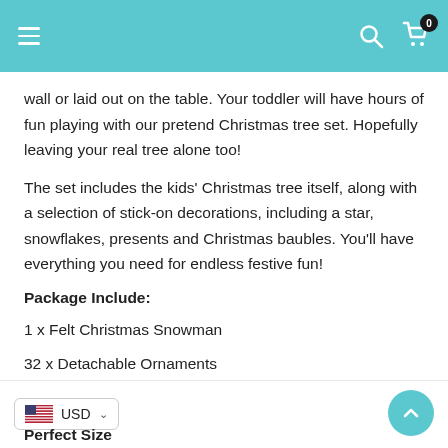Navigation bar with hamburger menu, search icon, and cart icon (0 items)
wall or laid out on the table. Your toddler will have hours of fun playing with our pretend Christmas tree set. Hopefully leaving your real tree alone too!
The set includes the kids' Christmas tree itself, along with a selection of stick-on decorations, including a star, snowflakes, presents and Christmas baubles. You'll have everything you need for endless festive fun!
Package Include:
1 x Felt Christmas Snowman
32 x Detachable Ornaments
USD currency selector | Scroll up button | Perfect Size